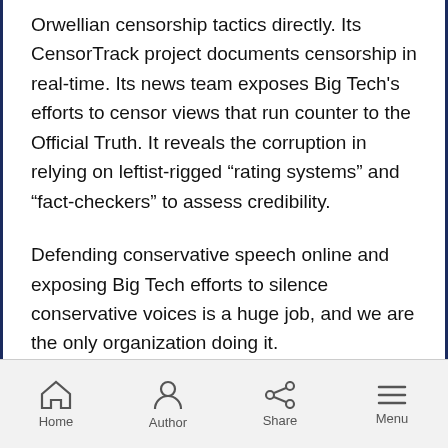Orwellian censorship tactics directly. Its CensorTrack project documents censorship in real-time. Its news team exposes Big Tech's efforts to censor views that run counter to the Official Truth. It reveals the corruption in relying on leftist-rigged “rating systems” and “fact-checkers” to assess credibility.
Defending conservative speech online and exposing Big Tech efforts to silence conservative voices is a huge job, and we are the only organization doing it.
Your support is crucial. Conservative ideas can address America’s problems, but not if leftists in
Home  Author  Share  Menu